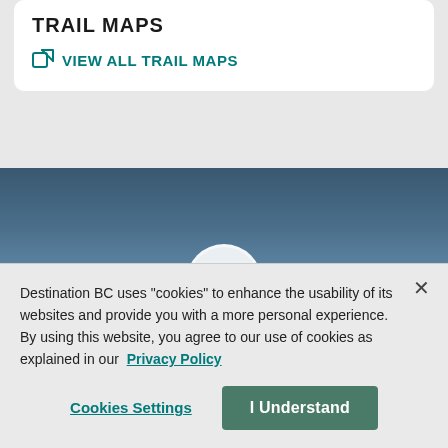TRAIL MAPS
VIEW ALL TRAIL MAPS
[Figure (photo): Blue sky map background image with a partially visible white circle at the bottom center]
Destination BC uses "cookies" to enhance the usability of its websites and provide you with a more personal experience. By using this website, you agree to our use of cookies as explained in our Privacy Policy
Cookies Settings
I Understand